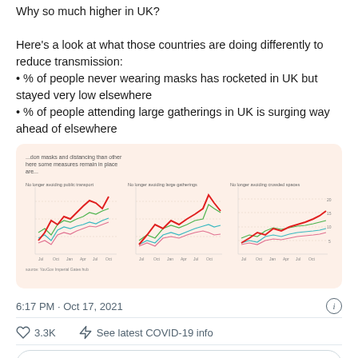Why so much higher in UK?

Here's a look at what those countries are doing differently to reduce transmission:
• % of people never wearing masks has rocketed in UK but stayed very low elsewhere
• % of people attending large gatherings in UK is surging way ahead of elsewhere
[Figure (line-chart): Three small multiple line charts on a peach/beige background showing trends over time (Jul, Oct, Jan, Apr, Jul, Oct) for multiple countries. Charts labeled: 'No longer avoiding public transport', 'No longer avoiding large gatherings', 'No longer avoiding crowded spaces'. A bold red line (UK) rises sharply above other colored lines (green, cyan, pink). Source: YouGov/Imperial College Hub.]
6:17 PM · Oct 17, 2021
3.3K    See latest COVID-19 info
Read 69 replies